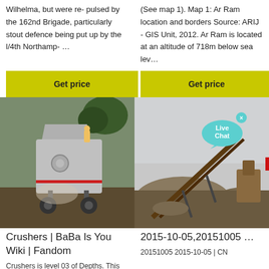Wilhelma, but were re- pulsed by the 162nd Brigade, particularly stout defence being put up by the l/4th Northamp- …
(See map 1). Map 1: Ar Ram location and borders Source: ARIJ - GIS Unit, 2012. Ar Ram is located at an altitude of 718m below sea lev…
Get price
Get price
[Figure (photo): Industrial crusher machine on a truck at a dusty mining/quarry site, with trees in background]
[Figure (photo): Mining conveyor belt and heavy machinery at a quarry site with overcast sky. Live Chat badge overlay in top right.]
Crushers | BaBa Is You Wiki | Fandom
2015-10-05,20151005 …
Crushers is level 03 of Depths. This
20151005 2015-10-05 | CN